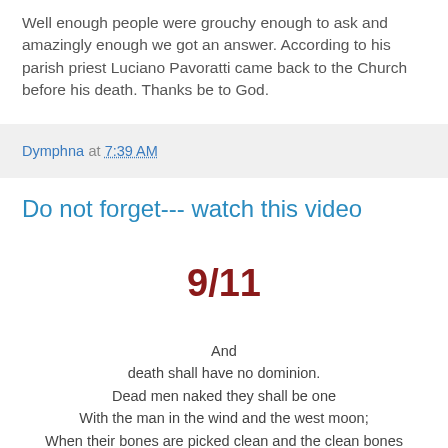Well enough people were grouchy enough to ask and amazingly enough we got an answer. According to his parish priest Luciano Pavoratti came back to the Church before his death. Thanks be to God.
Dymphna at 7:39 AM
Do not forget--- watch this video
9/11
And
death shall have no dominion.
Dead men naked they shall be one
With the man in the wind and the west moon;
When their bones are picked clean and the clean bones gone,